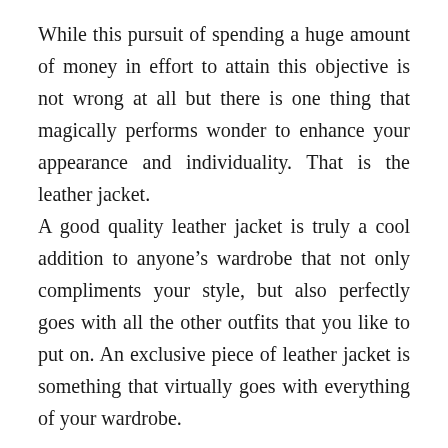While this pursuit of spending a huge amount of money in effort to attain this objective is not wrong at all but there is one thing that magically performs wonder to enhance your appearance and individuality. That is the leather jacket.
A good quality leather jacket is truly a cool addition to anyone's wardrobe that not only compliments your style, but also perfectly goes with all the other outfits that you like to put on. An exclusive piece of leather jacket is something that virtually goes with everything of your wardrobe.